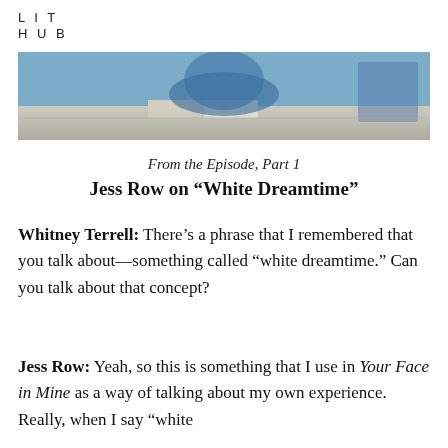LIT
HUB
[Figure (photo): Person sitting at a desk with an open book, wearing a blue top, photographed from the front in a room with soft lighting.]
From the Episode, Part 1
Jess Row on “White Dreamtime”
Whitney Terrell: There’s a phrase that I remembered that you talk about—something called “white dreamtime.” Can you talk about that concept?
Jess Row: Yeah, so this is something that I use in Your Face in Mine as a way of talking about my own experience. Really, when I say “white